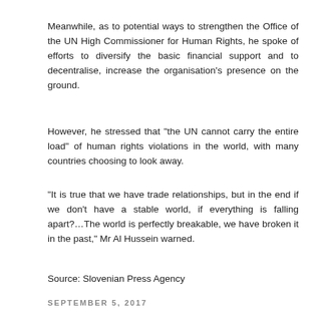Meanwhile, as to potential ways to strengthen the Office of the UN High Commissioner for Human Rights, he spoke of efforts to diversify the basic financial support and to decentralise, increase the organisation's presence on the ground.
However, he stressed that "the UN cannot carry the entire load" of human rights violations in the world, with many countries choosing to look away.
“It is true that we have trade relationships, but in the end if we don't have a stable world, if everything is falling apart?…The world is perfectly breakable, we have broken it in the past,” Mr Al Hussein warned.
Source: Slovenian Press Agency
SEPTEMBER 5, 2017